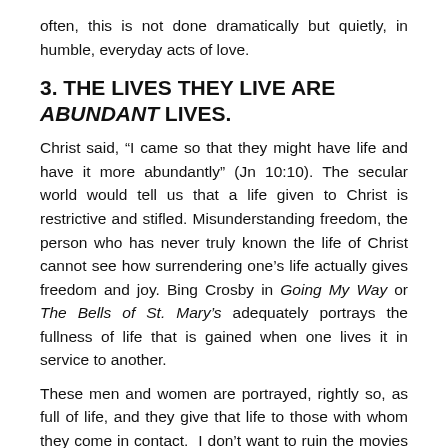often, this is not done dramatically but quietly, in humble, everyday acts of love.
3. THE LIVES THEY LIVE ARE ABUNDANT LIVES.
Christ said, “I came so that they might have life and have it more abundantly” (Jn 10:10). The secular world would tell us that a life given to Christ is restrictive and stifled. Misunderstanding freedom, the person who has never truly known the life of Christ cannot see how surrendering one’s life actually gives freedom and joy. Bing Crosby in Going My Way or The Bells of St. Mary’s adequately portrays the fullness of life that is gained when one lives it in service to another.
These men and women are portrayed, rightly so, as full of life, and they give that life to those with whom they come in contact.  I don’t want to ruin the movies for